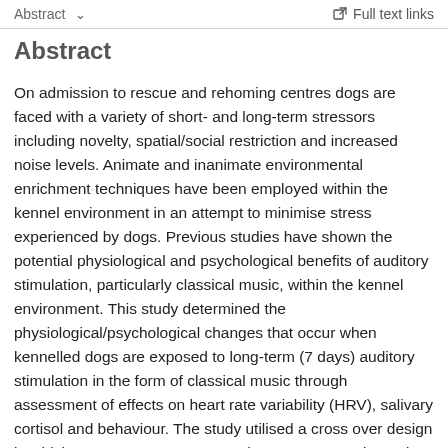Abstract  ∨    Full text links
Abstract
On admission to rescue and rehoming centres dogs are faced with a variety of short- and long-term stressors including novelty, spatial/social restriction and increased noise levels. Animate and inanimate environmental enrichment techniques have been employed within the kennel environment in an attempt to minimise stress experienced by dogs. Previous studies have shown the potential physiological and psychological benefits of auditory stimulation, particularly classical music, within the kennel environment. This study determined the physiological/psychological changes that occur when kennelled dogs are exposed to long-term (7 days) auditory stimulation in the form of classical music through assessment of effects on heart rate variability (HRV), salivary cortisol and behaviour. The study utilised a cross over design in which two groups were exposed to two consecutive 7-day treatment conditions (control) and